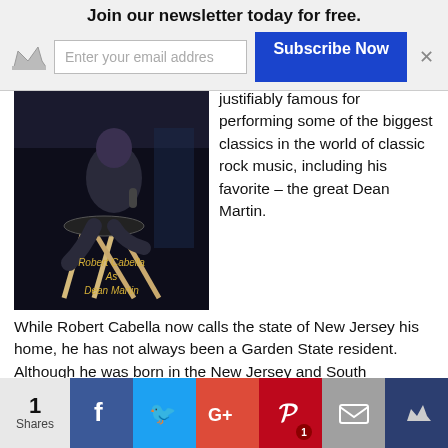Join our newsletter today for free.
justifiably famous for performing some of the biggest classics in the world of classic rock music, including his favorite – the great Dean Martin.
[Figure (photo): Black and white photo of Robert Cabella sitting on a bar stool, with text overlay reading 'Robert Cabella As Dean Martin']
While Robert Cabella now calls the state of New Jersey his home, he has not always been a Garden State resident. Although he was born in the New Jersey and South Philadelphia area, Robert spent much of his time in Biloxi, Mississippi. The city of Biloxi is known for many things, but it may be most famous as a gambling destination. Third only to Las Vegas and Atlantic City, the city of Biloxi is home to many great casinos, and it was in
1 Shares | Facebook | Twitter | Google+ | Pinterest 1 | Email | Crown